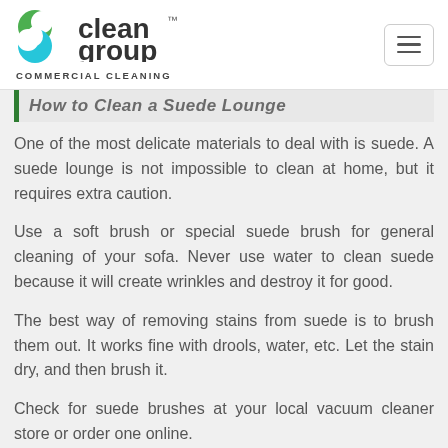clean group COMMERCIAL CLEANING
How to Clean a Suede Lounge
One of the most delicate materials to deal with is suede. A suede lounge is not impossible to clean at home, but it requires extra caution.
Use a soft brush or special suede brush for general cleaning of your sofa. Never use water to clean suede because it will create wrinkles and destroy it for good.
The best way of removing stains from suede is to brush them out. It works fine with drools, water, etc. Let the stain dry, and then brush it.
Check for suede brushes at your local vacuum cleaner store or order one online.